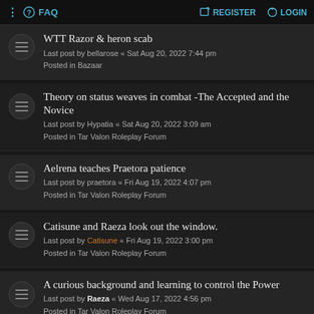FAQ  REGISTER  LOGIN
WTT Razor & heron scab
Last post by bellarose « Sat Aug 20, 2022 7:44 pm
Posted in Bazaar
Theory on status weaves in combat -The Accepted and the Novice
Last post by Hypatia « Sat Aug 20, 2022 3:09 am
Posted in Tar Valon Roleplay Forum
Aelrena teaches Praetora patience
Last post by praetora « Fri Aug 19, 2022 4:07 pm
Posted in Tar Valon Roleplay Forum
Catisune and Raeza look out the window.
Last post by Catisune « Fri Aug 19, 2022 3:00 pm
Posted in Tar Valon Roleplay Forum
A curious background and learning to control the Power
Last post by Raeza « Wed Aug 17, 2022 4:56 pm
Posted in Tar Valon Roleplay Forum